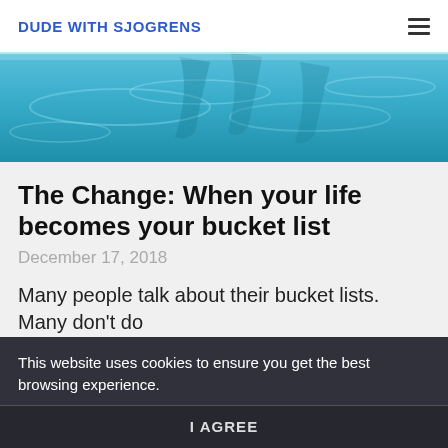DUDE WITH SJOGRENS
[Figure (photo): Aerial or close-up view of a swimming pool with blue water and reflections of palm trees or surroundings]
The Change: When your life becomes your bucket list
December 17, 2018
Many people talk about their bucket lists. Many don't do
...
This website uses cookies to ensure you get the best browsing experience.
I AGREE